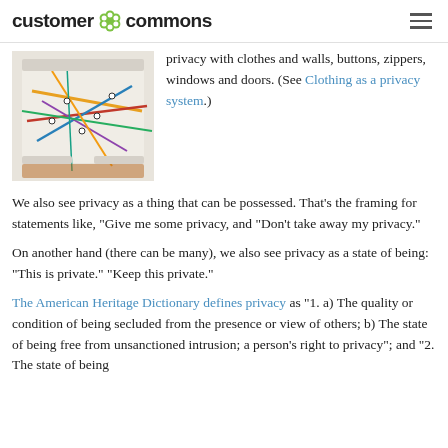customer commons
[Figure (photo): Person wearing boxer shorts printed with a colorful subway/transit map pattern]
privacy with clothes and walls, buttons, zippers, windows and doors. (See Clothing as a privacy system.)
We also see privacy as a thing that can be possessed. That's the framing for statements like, “Give me some privacy, and “Don’t take away my privacy.”
On another hand (there can be many), we also see privacy as a state of being: “This is private.” “Keep this private.”
The American Heritage Dictionary defines privacy as “1. a) The quality or condition of being secluded from the presence or view of others; b) The state of being free from unsanctioned intrusion; a person’s right to privacy”; and “2. The state of being